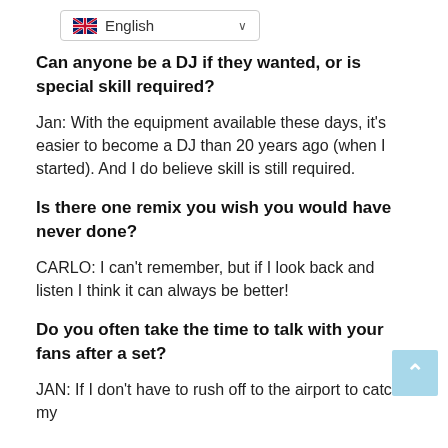English
Can anyone be a DJ if they wanted, or is special skill required?
Jan: With the equipment available these days, it's easier to become a DJ than 20 years ago (when I started). And I do believe skill is still required.
Is there one remix you wish you would have never done?
CARLO: I can't remember, but if I look back and listen I think it can always be better!
Do you often take the time to talk with your fans after a set?
JAN: If I don't have to rush off to the airport to catch my